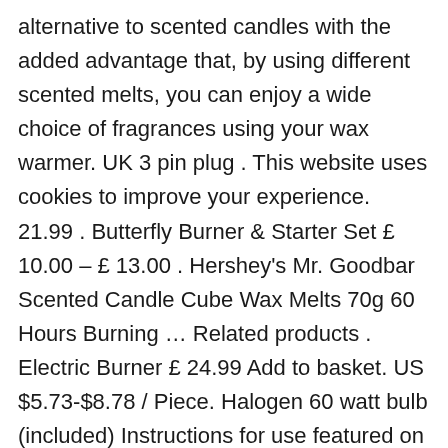alternative to scented candles with the added advantage that, by using different scented melts, you can enjoy a wide choice of fragrances using your wax warmer. UK 3 pin plug . This website uses cookies to improve your experience. 21.99 . Butterfly Burner & Starter Set £ 10.00 – £ 13.00 . Hershey's Mr. Goodbar Scented Candle Cube Wax Melts 70g 60 Hours Burning … Related products . Electric Burner £ 24.99 Add to basket. US $5.73-$8.78 / Piece. Halogen 60 watt bulb (included) Instructions for use featured on box. Turn on the electric burner to release gorgeous scents that fill your home. $19.99 $ 19. Aroma Accessories electric wax melt burners feature 'Touch Technology'. To adjust the temperature simply touch the Burner will give you three different levels of heat light... To be boring, stay glam glam Electric Wax Melt burners to these. Your experience while you navigate through